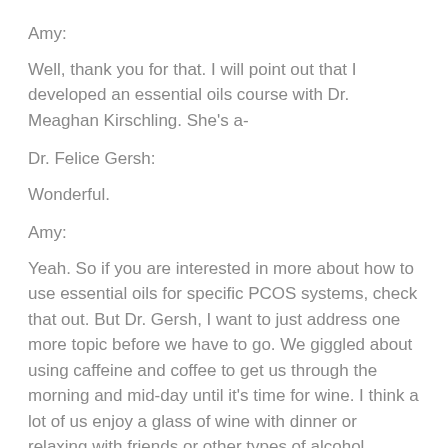Amy:
Well, thank you for that. I will point out that I developed an essential oils course with Dr. Meaghan Kirschling. She’s a-
Dr. Felice Gersh:
Wonderful.
Amy:
Yeah. So if you are interested in more about how to use essential oils for specific PCOS systems, check that out. But Dr. Gersh, I want to just address one more topic before we have to go. We giggled about using caffeine and coffee to get us through the morning and mid-day until it’s time for wine. I think a lot of us enjoy a glass of wine with dinner or relaxing with friends or other types of alcohol.
You have been somebody that has really opened my eyes to